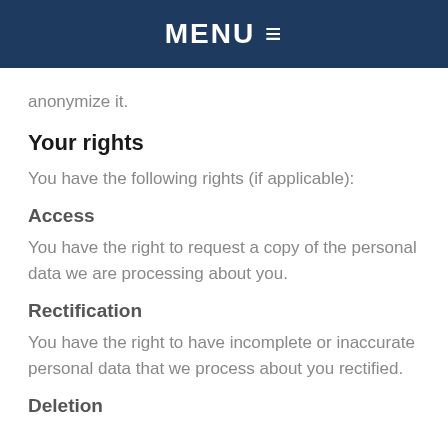MENU ≡
anonymize it.
Your rights
You have the following rights (if applicable):
Access
You have the right to request a copy of the personal data we are processing about you.
Rectification
You have the right to have incomplete or inaccurate personal data that we process about you rectified.
Deletion